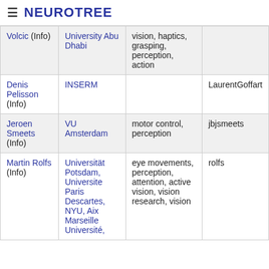≡ NEUROTREE
| Volcic (Info) | University Abu Dhabi | vision, haptics, grasping, perception, action |  |
| Denis Pelisson (Info) | INSERM |  | LaurentGoffart |
| Jeroen Smeets (Info) | VU Amsterdam | motor control, perception | jbjsmeets |
| Martin Rolfs (Info) | Universität Potsdam, Universite Paris Descartes, NYU, Aix Marseille Université, | eye movements, perception, attention, active vision, vision research, vision | rolfs |